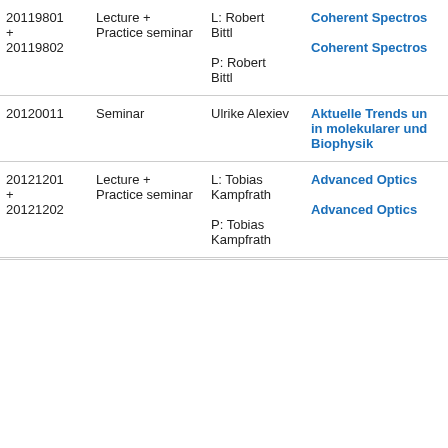| ID | Type | Instructor | Course |
| --- | --- | --- | --- |
| 20119801
+
20119802 | Lecture +
Practice seminar | L: Robert Bittl
P: Robert Bittl | Coherent Spectros
Coherent Spectros |
| 20120011 | Seminar | Ulrike Alexiev | Aktuelle Trends und
in molekularer und
Biophysik |
| 20121201
+
20121202 | Lecture +
Practice seminar | L: Tobias Kampfrath
P: Tobias Kampfrath | Advanced Optics
Advanced Optics |